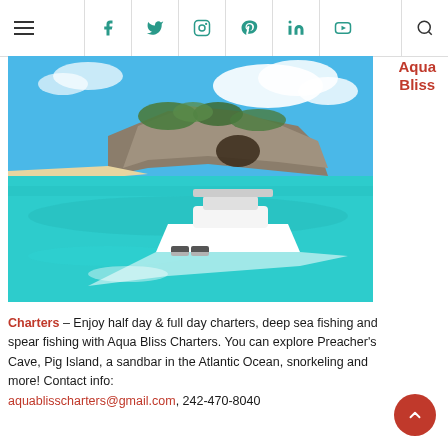Navigation header with hamburger menu and social icons: Facebook, Twitter, Instagram, Pinterest, LinkedIn, YouTube, and Search
Aqua Bliss
[Figure (photo): Aerial view of a white motorboat cruising through turquoise waters near rocky limestone cliffs and a sandy beach under a blue sky with white clouds.]
Charters – Enjoy half day & full day charters, deep sea fishing and spear fishing with Aqua Bliss Charters. You can explore Preacher's Cave, Pig Island, a sandbar in the Atlantic Ocean, snorkeling and more! Contact info: aquablisscharters@gmail.com, 242-470-8040